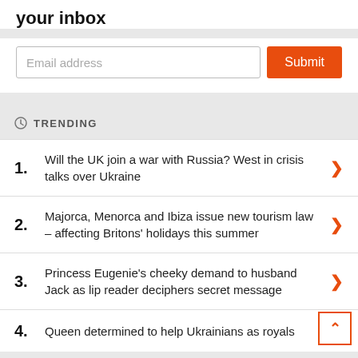your inbox
[Figure (screenshot): Email input field with placeholder text 'Email address' and a red Submit button]
TRENDING
Will the UK join a war with Russia? West in crisis talks over Ukraine
Majorca, Menorca and Ibiza issue new tourism law – affecting Britons' holidays this summer
Princess Eugenie's cheeky demand to husband Jack as lip reader deciphers secret message
Queen determined to help Ukrainians as royals